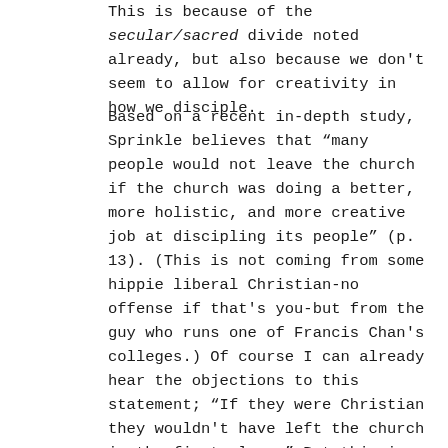This is because of the secular/sacred divide noted already, but also because we don't seem to allow for creativity in how we disciple.
Based on a recent in-depth study, Sprinkle believes that “many people would not leave the church if the church was doing a better, more holistic, and more creative job at discipling its people” (p. 13). (This is not coming from some hippie liberal Christian-no offense if that’s you-but from the guy who runs one of Francis Chan's colleges.) Of course I can already hear the objections to this statement; “If they were Christian they wouldn’t have left the church in the first place.” But this is a great generalization and oversimplification which tends to excuse inexcusable behavior from fellow Christians. I’m grateful Sprinkle seems to realize this.